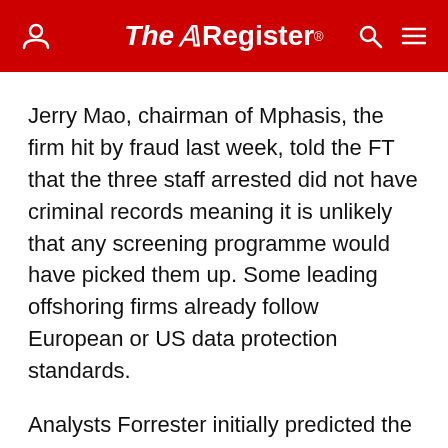The Register
Jerry Mao, chairman of Mphasis, the firm hit by fraud last week, told the FT that the three staff arrested did not have criminal records meaning it is unlikely that any screening programme would have picked them up. Some leading offshoring firms already follow European or US data protection standards.
Analysts Forrester initially predicted the bad news could reduce India's call centre growth by as much as 30 per cent. They are reportedly considering cutting that figure because of the lack of mainstream media